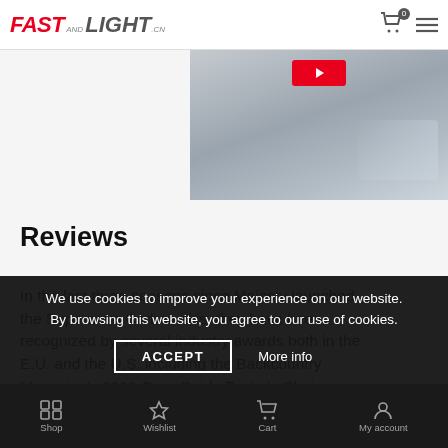FAST AND LIGHT .CN
[Figure (photo): Partial hero image showing a skier or snow scene with a red play button overlay, gray/blue winter background]
Reviews
In the last three seasons since Majesty launched the Supernova Carbon skis, they have been recognized by several industry awards both in the E.U. and the U.S. including the Backcountry Magazine's 2019 Gear Guide Tester's Choice award.
We use cookies to improve your experience on our website. By browsing this website, you agree to our use of cookies.
Shop  Wishlist  Cart  My account